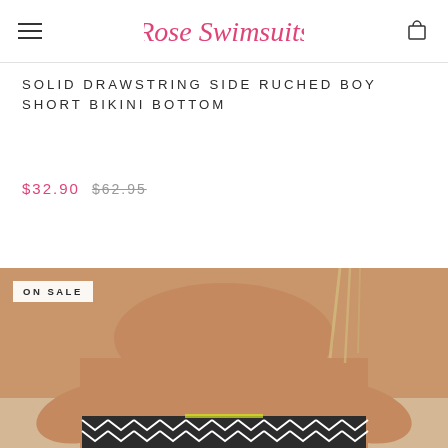Rose Swimsuits
SOLID DRAWSTRING SIDE RUCHED BOY SHORT BIKINI BOTTOM
$32.90  $62.95
[Figure (photo): Back view of woman wearing black and white chevron pattern bikini bottom, hands on hips, beach background. 'ON SALE' badge overlay in top-left corner.]